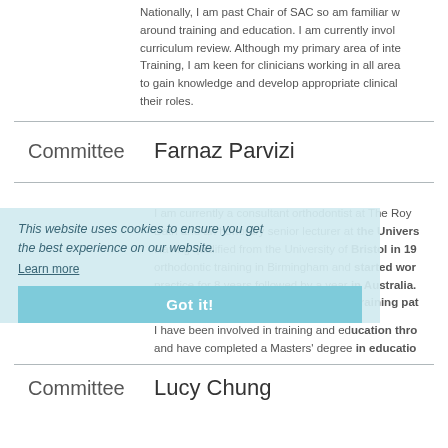Nationally, I am past Chair of SAC so am familiar with the issues around training and education. I am currently involved in the curriculum review. Although my primary area of interest is Training, I am keen for clinicians working in all areas to gain knowledge and develop appropriate clinical skills for their roles.
Committee
Farnaz Parvizi
I am currently a consultant orthodontist at The Royal United Hospital Bath and an honorary senior lecturer at the University of Bristol. Having qualified from the University of Bristol in 1995, I completed orthodontic training in Birmingham and started working in specialist practice for 8 years followed by a year in Australia. I have completed further 2 years of consultant training pat...
I have been involved in training and education throughout my career and have completed a Masters' degree in education...
Committee
Lucy Chung